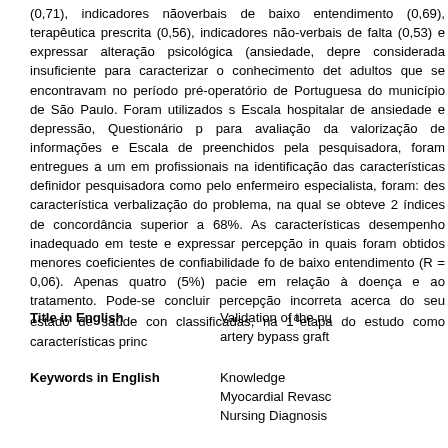(0,71), indicadores nãoverbais de baixo entendimento (0,69), terapêutica prescrita (0,56), indicadores não-verbais de falta (0,53) e expressar alteração psicológica (ansiedade, depre considerada insuficiente para caracterizar o conhecimento det adultos que se encontravam no período pré-operatório de Portuguesa do município de São Paulo. Foram utilizados s Escala hospitalar de ansiedade e depressão, Questionário p para avaliação da valorização de informações e Escala de preenchidos pela pesquisadora, foram entregues a um em profissionais na identificação das características definidor pesquisadora como pelo enfermeiro especialista, foram: des característica verbalização do problema, na qual se obteve 2 índices de concordância superior a 68%. As características desempenho inadequado em teste e expressar percepção in quais foram obtidos menores coeficientes de confiabilidade fo de baixo entendimento (R = 0,06). Apenas quatro (5%) pacie em relação à doença e ao tratamento. Pode-se concluir percepção incorreta acerca do seu estado de saúde con classificadas, na 1ªetapa do estudo como características princ
Title in English
Validation of the nu artery bypass graft
Keywords in English
Knowledge
Myocardial Revasc
Nursing Diagnosis